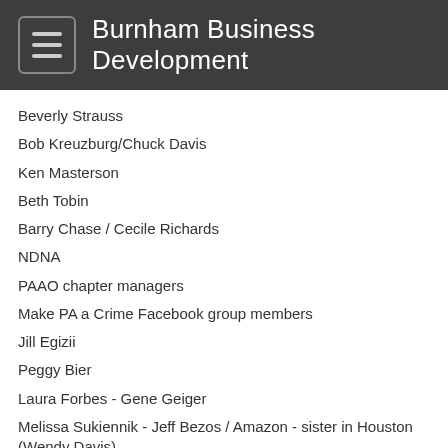Burnham Business Development
Beverly Strauss
Bob Kreuzburg/Chuck Davis
Ken Masterson
Beth Tobin
Barry Chase / Cecile Richards
NDNA
PAAO chapter managers
Make PA a Crime Facebook group members
Jill Egizii
Peggy Bier
Laura Forbes - Gene Geiger
Melissa Sukiennik - Jeff Bezos / Amazon - sister in Houston (Wendy Davis)
Bellantone - PPAI
Fundraiser in Las Vegas
Distributor committee to create campaign